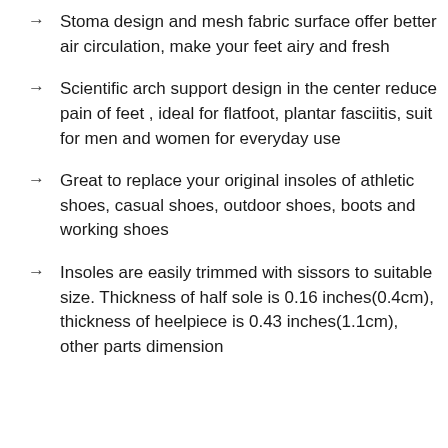Stoma design and mesh fabric surface offer better air circulation, make your feet airy and fresh
Scientific arch support design in the center reduce pain of feet , ideal for flatfoot, plantar fasciitis, suit for men and women for everyday use
Great to replace your original insoles of athletic shoes, casual shoes, outdoor shoes, boots and working shoes
Insoles are easily trimmed with sissors to suitable size. Thickness of half sole is 0.16 inches(0.4cm), thickness of heelpiece is 0.43 inches(1.1cm), other parts dimension